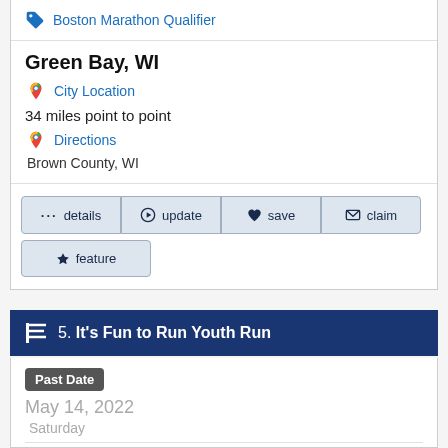Boston Marathon Qualifier
Green Bay, WI
City Location
34 miles point to point
Directions
Brown County, WI
details
update
save
claim
feature
5. It's Fun to Run Youth Run
Past Date
May 14, 2022
Saturday
kids run